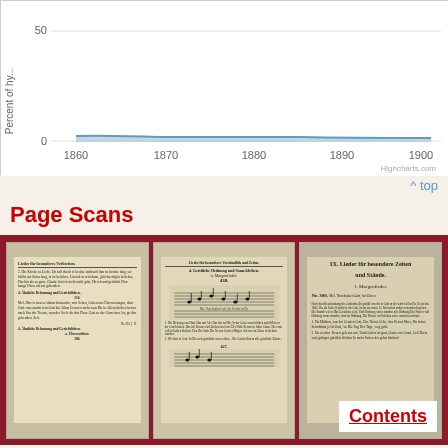[Figure (continuous-plot): Line chart showing percent of hyphenation (y-axis, 0-50) over years 1860-1900 (x-axis). A blue filled area/line starts near 0 at 1860 and stays very low (near 0) across all years through 1900, showing a nearly flat trend close to 0%.]
^ top
Page Scans
[Figure (photo): Three scanned pages from old German hymnbooks/religious texts. Left scan shows text columns with German Gothic script including headers like 'Ähnliche Beleunung' and hymn number 510. Middle scan shows musical notation with German text, hymn number 438 with music staves and lyrics. Right scan shows German text with heading 'IX. Lieder für besondere Zeiten und Stände' and '1. Morgenlieder' and 'Nr. 300' with Gothic script verses.]
Contents